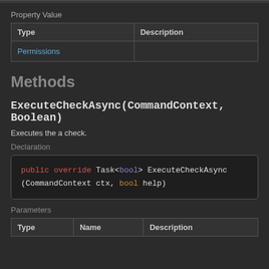Property Value
| Type | Description |
| --- | --- |
| Permissions |  |
Methods
ExecuteCheckAsync(CommandContext, Boolean)
Executes the a check.
Declaration
public override Task<bool> ExecuteCheckAsync
(CommandContext ctx, bool help)
Parameters
| Type | Name | Description |
| --- | --- | --- |